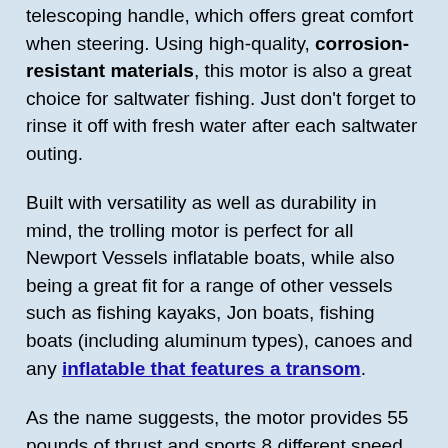telescoping handle, which offers great comfort when steering. Using high-quality, corrosion-resistant materials, this motor is also a great choice for saltwater fishing. Just don't forget to rinse it off with fresh water after each saltwater outing.
Built with versatility as well as durability in mind, the trolling motor is perfect for all Newport Vessels inflatable boats, while also being a great fit for a range of other vessels such as fishing kayaks, Jon boats, fishing boats (including aluminum types), canoes and any inflatable that features a transom.
As the name suggests, the motor provides 55 pounds of thrust and sports 8 different speed settings, with 5 forward speeds and 3 reverse speeds. This allows for amazing control over your boat and makes it easier to